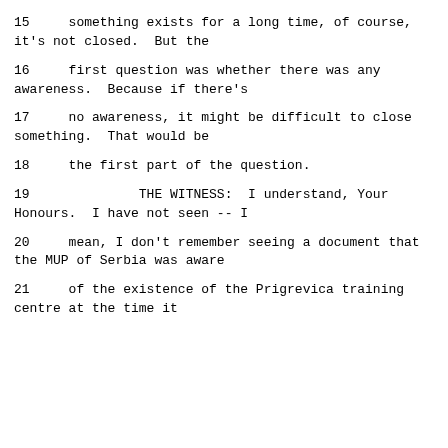15     something exists for a long time, of course, it's not closed.  But the
16     first question was whether there was any awareness.  Because if there's
17     no awareness, it might be difficult to close something.  That would be
18     the first part of the question.
19              THE WITNESS:  I understand, Your Honours.  I have not seen -- I
20     mean, I don't remember seeing a document that the MUP of Serbia was aware
21     of the existence of the Prigrevica training centre at the time it